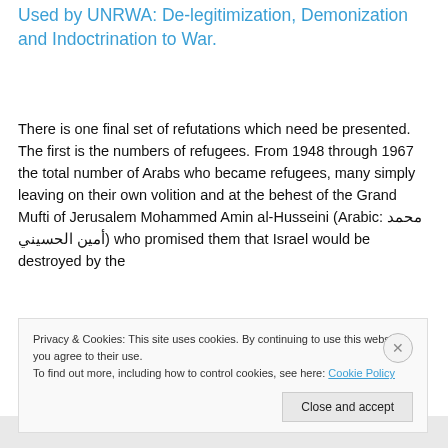Used by UNRWA: De-legitimization, Demonization and Indoctrination to War.
There is one final set of refutations which need be presented. The first is the numbers of refugees. From 1948 through 1967 the total number of Arabs who became refugees, many simply leaving on their own volition and at the behest of the Grand Mufti of Jerusalem Mohammed Amin al-Husseini (Arabic: محمد أمين الحسيني) who promised them that Israel would be destroyed by the
Privacy & Cookies: This site uses cookies. By continuing to use this website, you agree to their use.
To find out more, including how to control cookies, see here: Cookie Policy